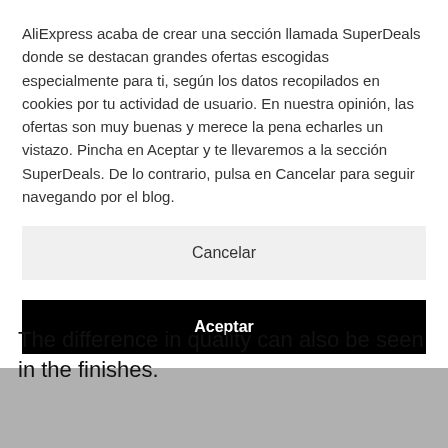AliExpress acaba de crear una sección llamada SuperDeals donde se destacan grandes ofertas escogidas especialmente para ti, según los datos recopilados en cookies por tu actividad de usuario. En nuestra opinión, las ofertas son muy buenas y merece la pena echarles un vistazo. Pincha en Aceptar y te llevaremos a la sección SuperDeals. De lo contrario, pulsa en Cancelar para seguir navegando por el blog.
Cancelar
Aceptar
The difference in quality can also be seen in the finishes.